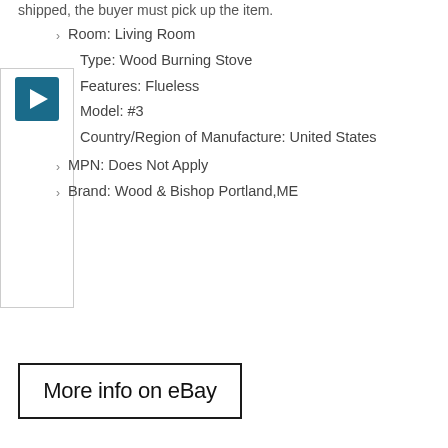shipped, the buyer must pick up the item.
Room: Living Room
[Figure (other): Teal/dark blue play button icon in a bordered box]
Type: Wood Burning Stove
Features: Flueless
Model: #3
Country/Region of Manufacture: United States
MPN: Does Not Apply
Brand: Wood & Bishop Portland,ME
[Figure (other): More info on eBay button with black border]